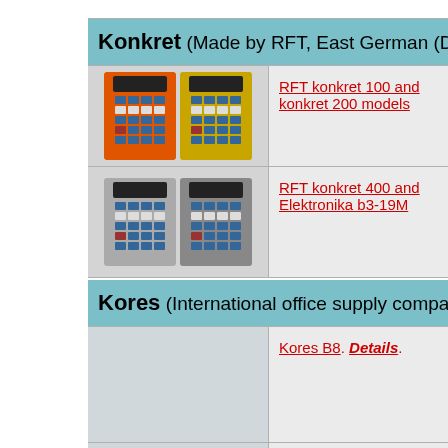Konkret (Made by RFT, East German (DDR) company - see…)
[Figure (photo): Two vintage calculators side by side - one orange and one yellow (RFT konkret 100 and 200)]
RFT konkret 100 and konkret 200 models
[Figure (photo): Two vintage calculators side by side - both gray (RFT konkret 400 and Elektronika b3-19M)]
RFT konkret 400 and Elektronika b3-19M
Kores (International office supply company based in Vienna,…)
Kores B8. Details.
Kores B8M. Details.